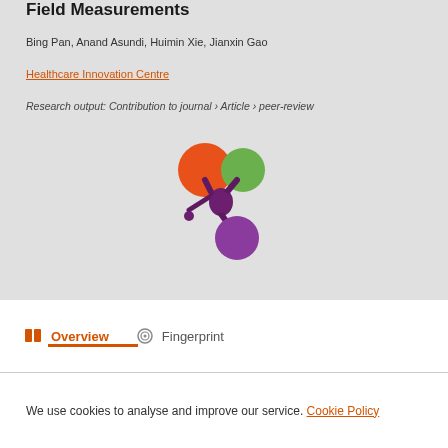Field Measurements
Bing Pan, Anand Asundi, Huimin Xie, Jianxin Gao
Healthcare Innovation Centre
Research output: Contribution to journal › Article › peer-review
[Figure (logo): Stylized butterfly/flower logo with orange, green, and purple circles connected by dark purple stems]
Overview   Fingerprint
We use cookies to analyse and improve our service. Cookie Policy